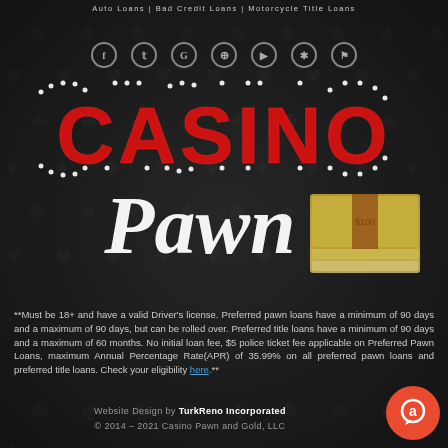Auto Loans | Bad Credit Loans | Motorcycle Title Loans
[Figure (logo): Casino Pawn and Gold logo with red marquee-style CASINO text and white script Pawn lettering, with money stack graphic]
**Must be 18+ and have a valid Driver's license. Preferred pawn loans have a minimum of 90 days and a maximum of 90 days, but can be rolled over. Preferred title loans have a minimum of 90 days and a maximum of 60 months. No initial loan fee, $5 police ticket fee applicable on Preferred Pawn Loans, maximum Annual Percentage Rate(APR) of 35.99% on all preferred pawn loans and preferred title loans. Check your eligibility here.**
Website Design by TurkReno Incorporated © 2014 – 2021 Casino Pawn and Gold, LLC